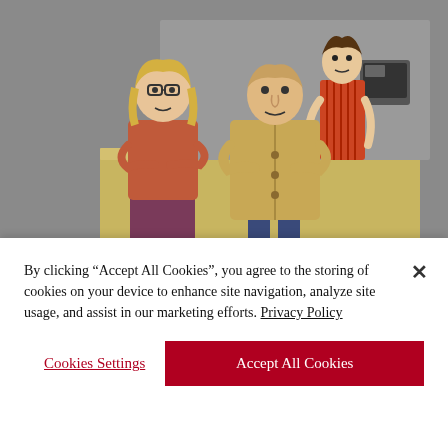[Figure (illustration): A cartoon showing two people (a woman with glasses and a man) standing at a fast food counter. Behind the counter is a cashier. The scene is drawn in a comic/editorial cartoon style. Artist signature reads 'Hagen' in the bottom right.]
“I’m sorry, I thought I wanted a double cheeseburger with fries, but I’ve just been informed I really feel like a garden salad.”
Jul/Aug 2005
By clicking “Accept All Cookies”, you agree to the storing of cookies on your device to enhance site navigation, analyze site usage, and assist in our marketing efforts. Privacy Policy